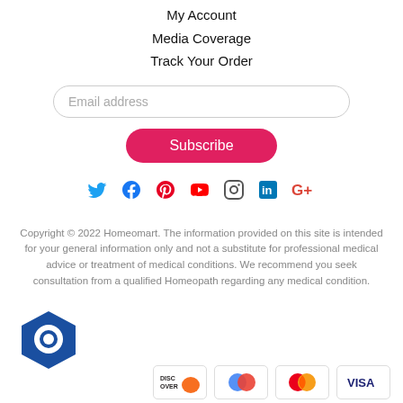My Account
Media Coverage
Track Your Order
Email address
Subscribe
[Figure (infographic): Social media icons: Twitter, Facebook, Pinterest, YouTube, Instagram, LinkedIn, Google+]
Copyright © 2022 Homeomart. The information provided on this site is intended for your general information only and not a substitute for professional medical advice or treatment of medical conditions. We recommend you seek consultation from a qualified Homeopath regarding any medical condition.
[Figure (infographic): Payment method icons: Discover, Google Pay (two circles), Mastercard, Visa. Also a chat widget icon (blue hexagon with speech bubble).]